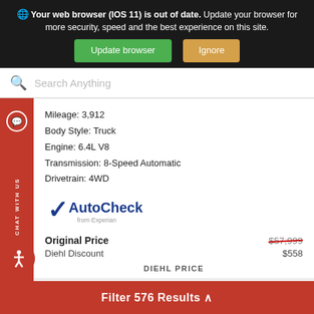Your web browser (IOS 11) is out of date. Update your browser for more security, speed and the best experience on this site.
Update browser | Ignore
Search Anything
Mileage: 3,912
Body Style: Truck
Engine: 6.4L V8
Transmission: 8-Speed Automatic
Drivetrain: 4WD
[Figure (logo): AutoCheck from Experian logo with blue checkmark]
Original Price $57,999
Diehl Discount $558
DIEHL PRICE
Filter 576 Results ∧